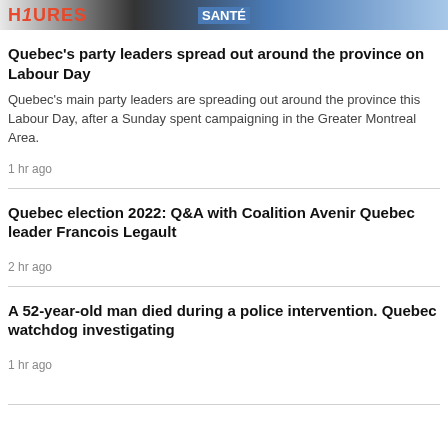[Figure (photo): Partial news banner image showing text HURES in red/orange letters and SANTE in blue/white, cropped at top of page]
Quebec's party leaders spread out around the province on Labour Day
Quebec's main party leaders are spreading out around the province this Labour Day, after a Sunday spent campaigning in the Greater Montreal Area.
1 hr ago
Quebec election 2022: Q&A with Coalition Avenir Quebec leader Francois Legault
2 hr ago
A 52-year-old man died during a police intervention. Quebec watchdog investigating
1 hr ago